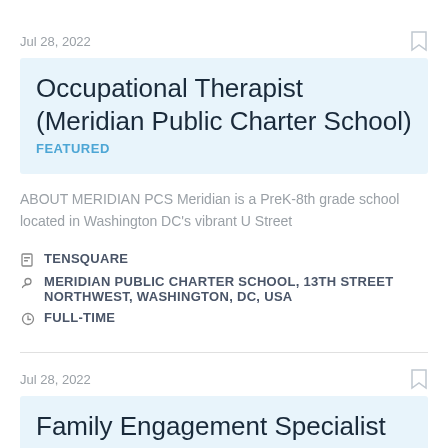Jul 28, 2022
Occupational Therapist (Meridian Public Charter School) FEATURED
ABOUT MERIDIAN PCS Meridian is a PreK-8th grade school located in Washington DC's vibrant U Street
TENSQUARE
MERIDIAN PUBLIC CHARTER SCHOOL, 13TH STREET NORTHWEST, WASHINGTON, DC, USA
FULL-TIME
Jul 28, 2022
Family Engagement Specialist (Meridian PCS) FEATURED